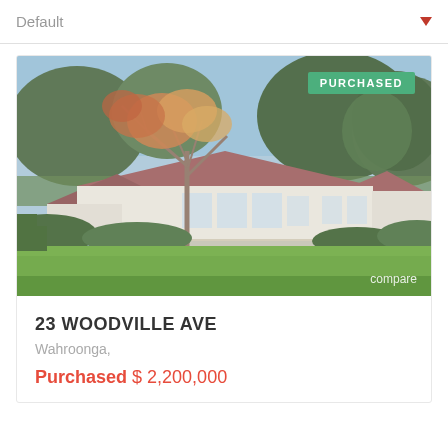Default
[Figure (photo): Exterior photo of a single-storey house with red/terracotta roof, white walls, surrounded by large trees and a green lawn. A 'PURCHASED' badge appears in the top-right corner and a 'compare' link in the bottom-right corner.]
23 WOODVILLE AVE
Wahroonga,
Purchased $ 2,200,000